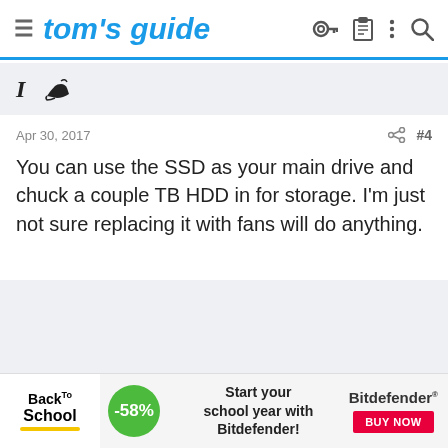tom's guide
Apr 30, 2017   #4
You can use the SSD as your main drive and chuck a couple TB HDD in for storage. I'm just not sure replacing it with fans will do anything.
[Figure (screenshot): Advertisement banner: Back to School, -58%, Start your school year with Bitdefender!, Bitdefender BUY NOW]